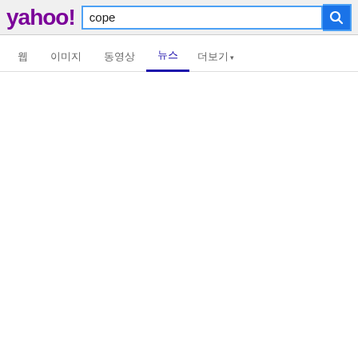[Figure (screenshot): Yahoo! logo in purple bold font on grey background]
cope
웹    이미지    동영상    뉴스    더보기 ▾